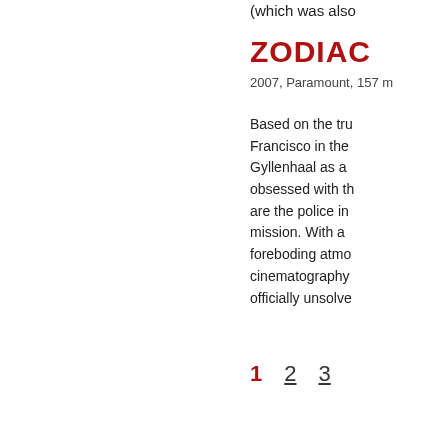[Figure (screenshot): Red TRAILER button with film icon]
(which was also
ZODIAC
2007, Paramount, 157 m
Based on the tru Francisco in the Gyllenhaal as a obsessed with th are the police in mission. With a foreboding atmo cinematography officially unsolve
1  2  3
[Figure (logo): RSS feed orange icon]
AT THE EGYPTIAN  AT THE AERO  CONTACT US  NOW PLAYING!  NOW PLAYING!  BY SERIES  BY SERIES  CALENDAR  CALENDAR